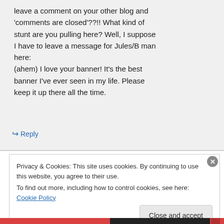leave a comment on your other blog and 'comments are closed'??!! What kind of stunt are you pulling here? Well, I suppose I have to leave a message for Jules/B man here:
(ahem) I love your banner! It's the best banner I've ever seen in my life. Please keep it up there all the time.
↪ Reply
Privacy & Cookies: This site uses cookies. By continuing to use this website, you agree to their use.
To find out more, including how to control cookies, see here: Cookie Policy
Close and accept